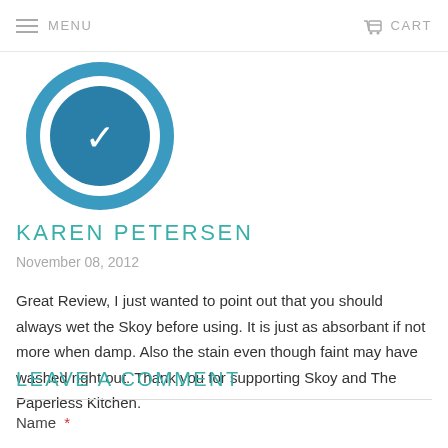MENU   CART
[Figure (logo): Circular logo with blue rings and a checkmark icon in the center]
KAREN PETERSEN
November 08, 2012
Great Review, I just wanted to point out that you should always wet the Skoy before using. It is just as absorbant if not more when damp. Also the stain even though faint may have washed right out. Thank you for supporting Skoy and The Paperless Kitchen.
LEAVE A COMMENT
Name *